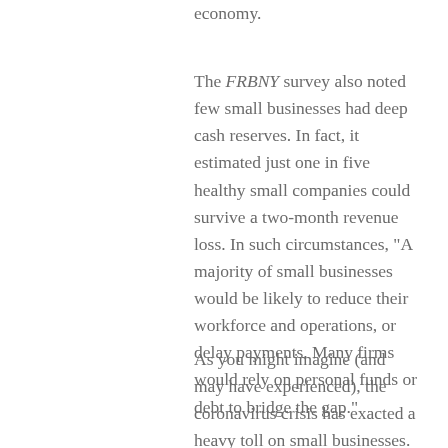economy.
The FRBNY survey also noted few small businesses had deep cash reserves. In fact, it estimated just one in five healthy small companies could survive a two-month revenue loss. In such circumstances, “A majority of small businesses would be likely to reduce their workforce and operations, or delay payments. Many firms would rely on personal funds or debt to bridge the gap.”
As you might imagine (and may have experienced), the coronavirus crisis has exacted a heavy toll on small businesses. Forty-three percent were